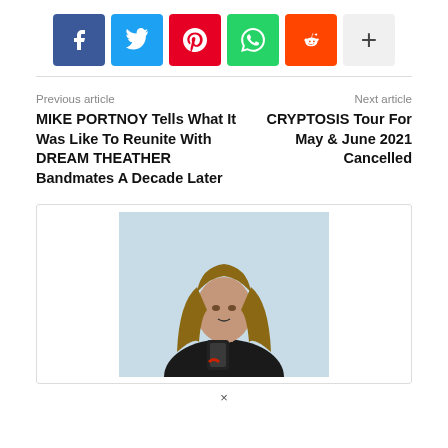[Figure (infographic): Social share buttons: Facebook (blue), Twitter (cyan), Pinterest (red), WhatsApp (green), Reddit (orange), More/plus (light gray)]
Previous article
Next article
MIKE PORTNOY Tells What It Was Like To Reunite With DREAM THEATHER Bandmates A Decade Later
CRYPTOSIS Tour For May & June 2021 Cancelled
[Figure (photo): Person with long straight hair holding a phone, wearing a dark top, light blue background]
×